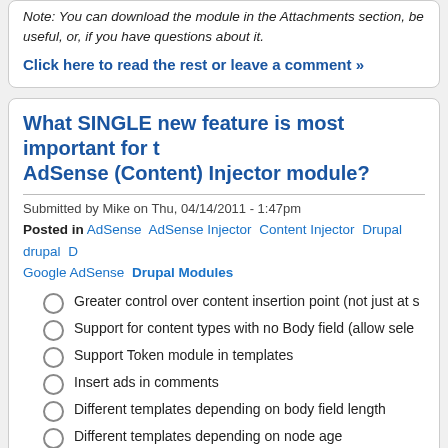Note: You can download the module in the Attachments section, be useful, or, if you have questions about it.
Click here to read the rest or leave a comment »
What SINGLE new feature is most important for the AdSense (Content) Injector module?
Submitted by Mike on Thu, 04/14/2011 - 1:47pm
Posted in AdSense AdSense Injector Content Injector Drupal drupal D Google AdSense Drupal Modules
Greater control over content insertion point (not just at s
Support for content types with no Body field (allow sele
Support Token module in templates
Insert ads in comments
Different templates depending on body field length
Different templates depending on node age